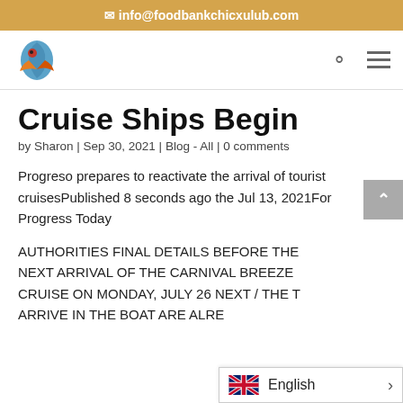✉ info@foodbankchicxulub.com
[Figure (logo): Food bank Chicxulub logo - bird/fish shape in blue and red/orange]
Cruise Ships Begin
by Sharon | Sep 30, 2021 | Blog - All | 0 comments
Progreso prepares to reactivate the arrival of tourist cruisesPublished 8 seconds ago the Jul 13, 2021For Progress Today
AUTHORITIES FINAL DETAILS BEFORE THE NEXT ARRIVAL OF THE CARNIVAL BREEZE CRUISE ON MONDAY, JULY 26 NEXT / THE T... ARRIVE IN THE BOAT ARE ALREA...